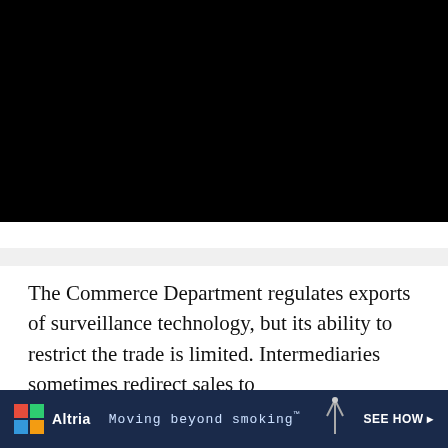[Figure (photo): Black photographic image filling the top portion of the page]
The Commerce Department regulates exports of surveillance technology, but its ability to restrict the trade is limited. Intermediaries sometimes redirect sales to foreign governments and other recipients.
[Figure (other): Altria advertisement banner: 'Moving beyond smoking' with logo and 'SEE HOW' call to action on dark blue background]